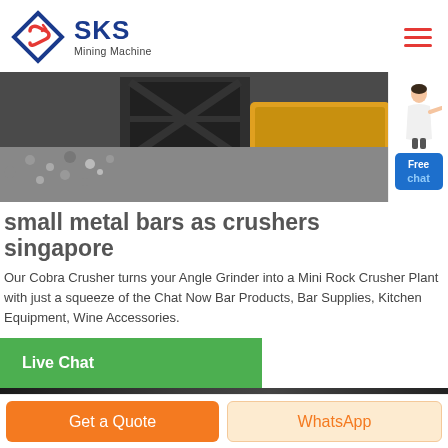[Figure (logo): SKS Mining Machine logo with diamond/arrow SVG icon in blue and red, company name in dark blue bold text, subtitle 'Mining Machine']
[Figure (photo): Industrial mining/crushing machine on gravel, shown in banner image. A person (customer service representative) stands to the right with a blue 'Free chat' button overlay.]
small metal bars as crushers singapore
Our Cobra Crusher turns your Angle Grinder into a Mini Rock Crusher Plant with just a squeeze of the Chat Now Bar Products, Bar Supplies, Kitchen Equipment, Wine Accessories.
[Figure (infographic): Green 'Live Chat' button bar]
[Figure (photo): Dark industrial image strip at bottom of content area]
Get a Quote
WhatsApp